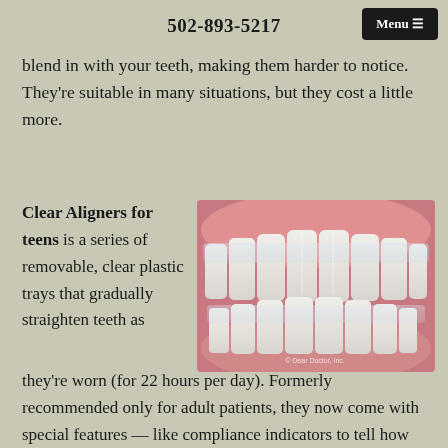502-893-5217
blend in with your teeth, making them harder to notice. They're suitable in many situations, but they cost a little more.
Clear Aligners for teens is a series of removable, clear plastic trays that gradually straighten teeth as they're worn (for 22 hours per day). Formerly recommended only for adult patients, they now come with special features — like compliance indicators to tell how often you've been wearing them — that make
[Figure (illustration): Illustration of clear dental aligners on teeth, showing upper and lower teeth with transparent aligner trays. Pink gum tissue visible. Watermark: © Dear Doctor, Inc.]